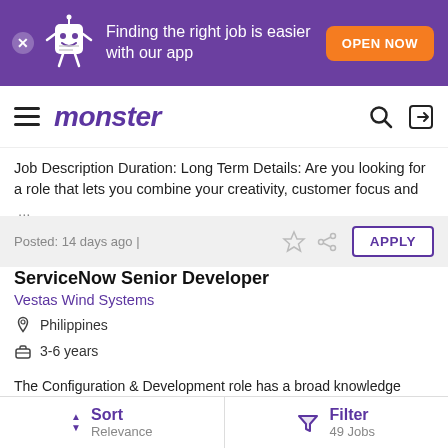[Figure (screenshot): Monster job board mobile app promotional banner with purple background, mascot, and orange 'OPEN NOW' button]
monster
Job Description Duration: Long Term Details: Are you looking for a role that lets you combine your creativity, customer focus and ...
Posted: 14 days ago |
ServiceNow Senior Developer
Vestas Wind Systems
Philippines
3-6 years
The Configuration & Development role has a broad knowledge base covering configuration and development on the ...
Sort Relevance | Filter 49 Jobs